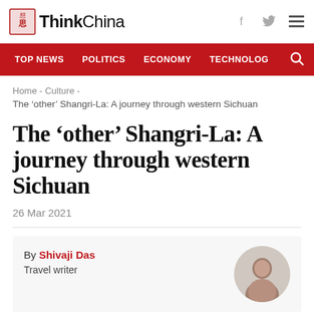ThinkChina
TOP NEWS  POLITICS  ECONOMY  TECHNOLOG
Home - Culture -
The ‘other’ Shangri-La: A journey through western Sichuan
The ‘other’ Shangri-La: A journey through western Sichuan
26 Mar 2021
By Shivaji Das
Travel writer